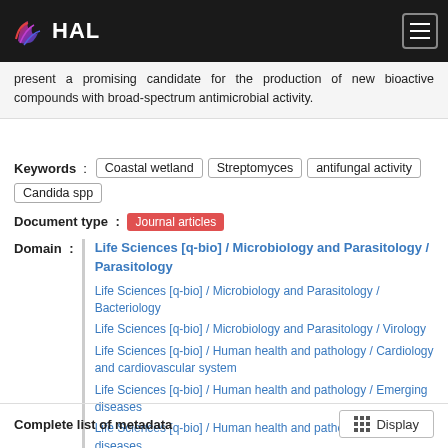HAL
present a promising candidate for the production of new bioactive compounds with broad-spectrum antimicrobial activity.
Keywords : Coastal wetland   Streptomyces   antifungal activity   Candida spp
Document type : Journal articles
Domain :
Life Sciences [q-bio] / Microbiology and Parasitology / Parasitology
Life Sciences [q-bio] / Microbiology and Parasitology / Bacteriology
Life Sciences [q-bio] / Microbiology and Parasitology / Virology
Life Sciences [q-bio] / Human health and pathology / Cardiology and cardiovascular system
Life Sciences [q-bio] / Human health and pathology / Emerging diseases
Life Sciences [q-bio] / Human health and pathology / Infectious diseases
Complete list of metadata   Display